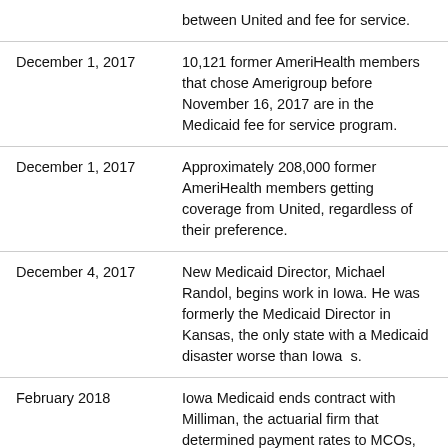| Date | Event |
| --- | --- |
|  | between United and fee for service. |
| December 1, 2017 | 10,121 former AmeriHealth members that chose Amerigroup before November 16, 2017 are in the Medicaid fee for service program. |
| December 1, 2017 | Approximately 208,000 former AmeriHealth members getting coverage from United, regardless of their preference. |
| December 4, 2017 | New Medicaid Director, Michael Randol, begins work in Iowa. He was formerly the Medicaid Director in Kansas, the only state with a Medicaid disaster worse than Iowa s. |
| February 2018 | Iowa Medicaid ends contract with Milliman, the actuarial firm that determined payment rates to MCOs, |